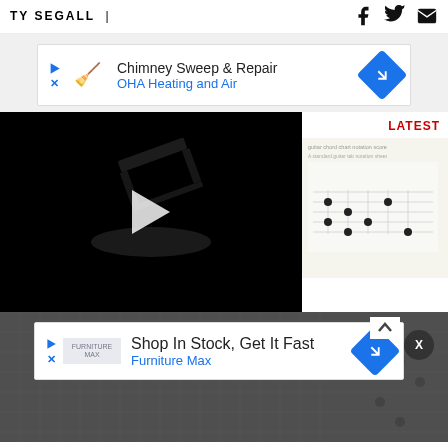TY SEGALL |
[Figure (screenshot): Advertisement banner: Chimney Sweep & Repair - OHA Heating and Air]
[Figure (screenshot): Video player with dark background showing a guitar hardware photo and a play button in the center]
LATEST
[Figure (screenshot): Small thumbnail of sheet music/guitar chord diagram]
[Figure (screenshot): Advertisement banner: Shop In Stock, Get It Fast - Furniture Max]